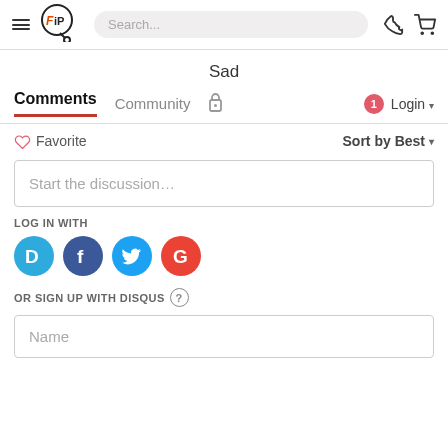[Figure (screenshot): Website header with hamburger menu, FiP logo, search bar, phone icon, and cart icon]
Sad
Comments  Community  🔒  1  Login
♡ Favorite   Sort by Best
Start the discussion…
LOG IN WITH
[Figure (logo): Social login icons: Disqus (D), Facebook (f), Twitter bird, Google (G)]
OR SIGN UP WITH DISQUS ?
Name